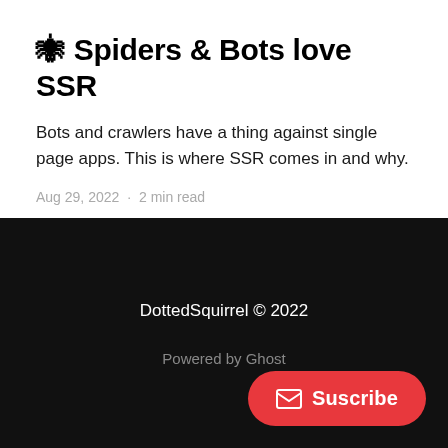🕷 Spiders & Bots love SSR
Bots and crawlers have a thing against single page apps. This is where SSR comes in and why.
Aug 29, 2022 · 2 min read
DottedSquirrel © 2022
Powered by Ghost